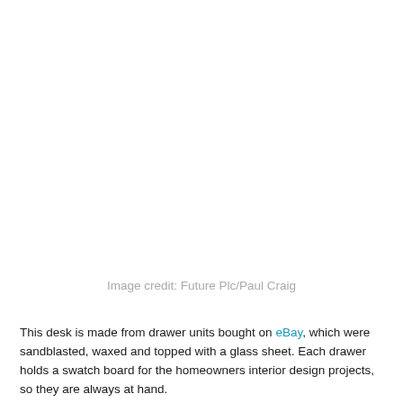[Figure (photo): Photograph area (image not shown) — desk made from drawer units with glass top]
Image credit: Future Plc/Paul Craig
This desk is made from drawer units bought on eBay, which were sandblasted, waxed and topped with a glass sheet. Each drawer holds a swatch board for the homeowners interior design projects, so they are always at hand.